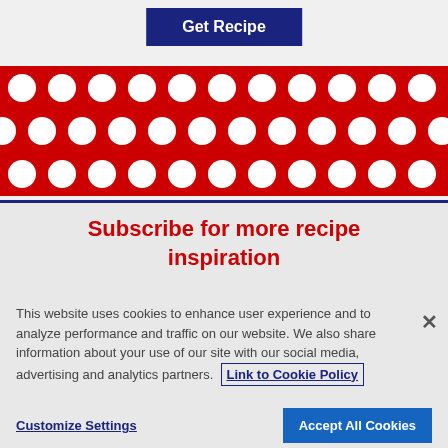[Figure (screenshot): Top section with a dark blue 'Get Recipe' button on a light gray background, followed by a red polka-dot decorative strip with white circles arranged in rows]
Subscribe for more recipe inspiration
This website uses cookies to enhance user experience and to analyze performance and traffic on our website. We also share information about your use of our site with our social media, advertising and analytics partners. Link to Cookie Policy
Customize Settings
Accept All Cookies